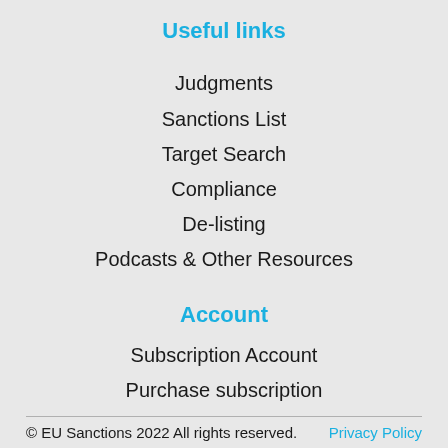Useful links
Judgments
Sanctions List
Target Search
Compliance
De-listing
Podcasts & Other Resources
Account
Subscription Account
Purchase subscription
© EU Sanctions 2022 All rights reserved.    Privacy Policy